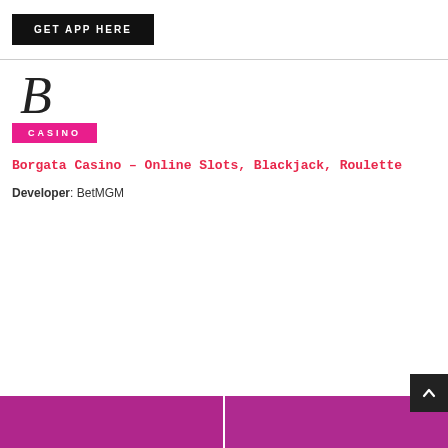GET APP HERE
[Figure (logo): Borgata Casino logo with stylized italic B and pink CASINO badge]
Borgata Casino – Online Slots, Blackjack, Roulette
Developer: BetMGM
[Figure (screenshot): Two purple/magenta colored app screenshot panels at the bottom of the page]